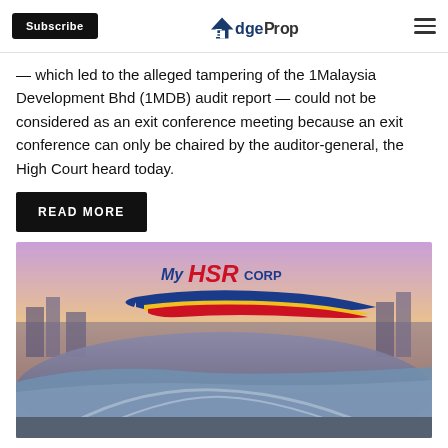Subscribe | EdgeProp
— which led to the alleged tampering of the 1Malaysia Development Bhd (1MDB) audit report — could not be considered as an exit conference meeting because an exit conference can only be chaired by the auditor-general, the High Court heard today.
READ MORE
[Figure (photo): MyHSR Corp promotional image showing a high-speed rail station with futuristic architecture, featuring the MyHSR Corp logo with a stylized high-speed train graphic in blue, red, and yellow.]